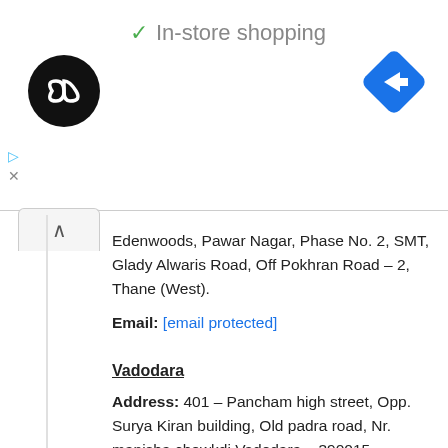✓ In-store shopping
[Figure (logo): Black circle logo with overlapping infinity-style arrows in white]
[Figure (logo): Blue diamond navigation arrow icon]
Edenwoods, Pawar Nagar, Phase No. 2, SMT, Glady Alwaris Road, Off Pokhran Road – 2, Thane (West).
Email: [email protected]
Vadodara
Address: 401 – Pancham high street, Opp. Surya Kiran building, Old padra road, Nr. manisha chowkdi Vadodara – 390015, Gujarat.
Email: [email protected]
Valsad